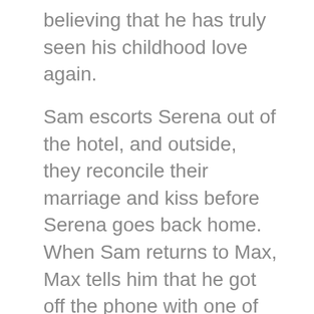believing that he has truly seen his childhood love again.
Sam escorts Serena out of the hotel, and outside, they reconcile their marriage and kiss before Serena goes back home. When Sam returns to Max, Max tells him that he got off the phone with one of the movie's producers, and he has been offered a three-picture deal with an option for a TV show. Though delighted by the news, Sam decides to take Max back home to Romania.
However, instead of returning him to the monastery, Sam takes him to his parents' house while he is sleeping, feeling that he should patch things up with them given his impending death. Upon arriving, he wakes Max, and though Max is initially upset with him for bringing him there, Sam helps him understand that he can't die while still